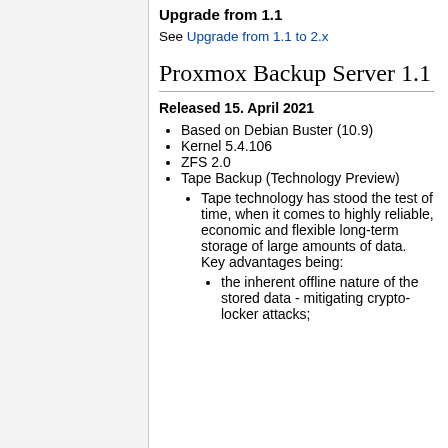Upgrade from 1.1
See Upgrade from 1.1 to 2.x
Proxmox Backup Server 1.1
Released 15. April 2021
Based on Debian Buster (10.9)
Kernel 5.4.106
ZFS 2.0
Tape Backup (Technology Preview)
Tape technology has stood the test of time, when it comes to highly reliable, economic and flexible long-term storage of large amounts of data. Key advantages being:
the inherent offline nature of the stored data - mitigating crypto-locker attacks;